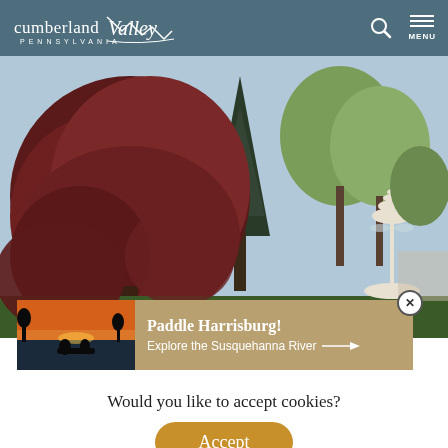[Figure (logo): Cumberland Valley Pennsylvania logo with mountain silhouette on teal/slate header bar]
[Figure (photo): Outdoor park scene with large red/burgundy leafy tree on left, tall evergreen tree in center, lighter green spring trees on right, white decorative fountain visible in lower right, blue sky background]
[Figure (infographic): Promotional banner with thumbnail of Susquehanna River at sunset/dusk with silhouettes, tan/brown background, text 'Paddle Harrisburg! Explore the Susquehanna River' with arrow, close button in top right corner]
Would you like to accept cookies?
Accept